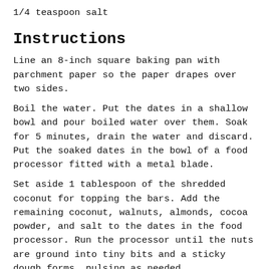1/4 teaspoon salt
Instructions
Line an 8-inch square baking pan with parchment paper so the paper drapes over two sides.
Boil the water. Put the dates in a shallow bowl and pour boiled water over them. Soak for 5 minutes, drain the water and discard. Put the soaked dates in the bowl of a food processor fitted with a metal blade.
Set aside 1 tablespoon of the shredded coconut for topping the bars. Add the remaining coconut, walnuts, almonds, cocoa powder, and salt to the dates in the food processor. Run the processor until the nuts are ground into tiny bits and a sticky dough forms, pulsing as needed.
Dump the dough onto the parchment-lined pan and use your fingers to press it down firmly and evenly, filling out the pan. If it's too sticky, lay parchment under your fingers